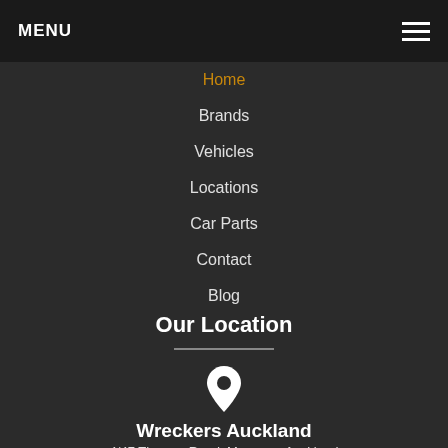MENU
Home
Brands
Vehicles
Locations
Car Parts
Contact
Blog
Our Location
[Figure (illustration): Map pin / location marker icon in white]
Wreckers Auckland
4/47 Thomas Road, Mangere, Auckland